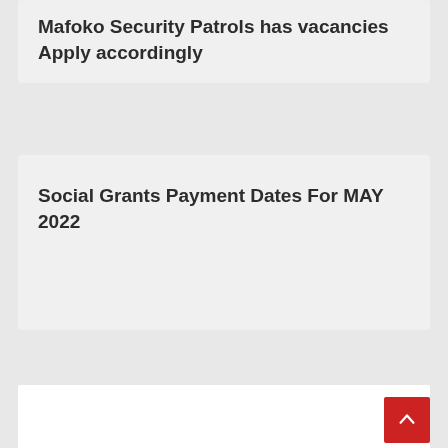Mafoko Security Patrols has vacancies Apply accordingly
Social Grants Payment Dates For MAY 2022
[Figure (other): White advertisement/content box]
[Figure (other): Back to top button (red square with upward arrow)]